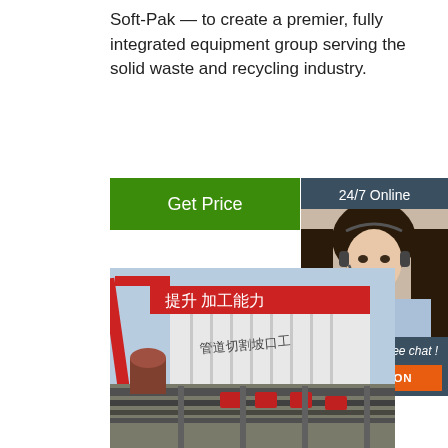Soft-Pak — to create a premier, fully integrated equipment group serving the solid waste and recycling industry.
Get Price
24/7 Online
Click here for free chat !
QUOTATION
[Figure (photo): Outdoor industrial yard scene with white shipping containers bearing Chinese text (管道切割坡口工 and other characters), red crane structure visible at left, steel beams and industrial equipment in the foreground.]